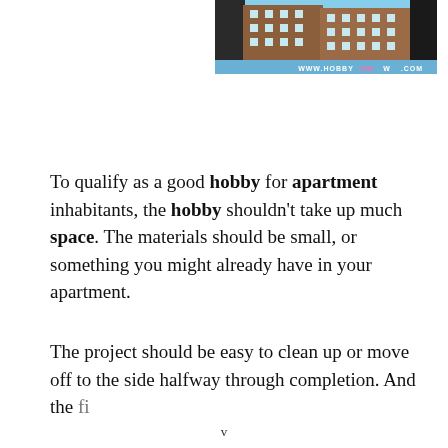[Figure (photo): Photo of apartment buildings with a website banner reading WWW.HOBBY OW W.COM at the bottom]
To qualify as a good hobby for apartment inhabitants, the hobby shouldn't take up much space. The materials should be small, or something you might already have in your apartment.
The project should be easy to clean up or move off to the side halfway through completion. And the finished product should be something...
v